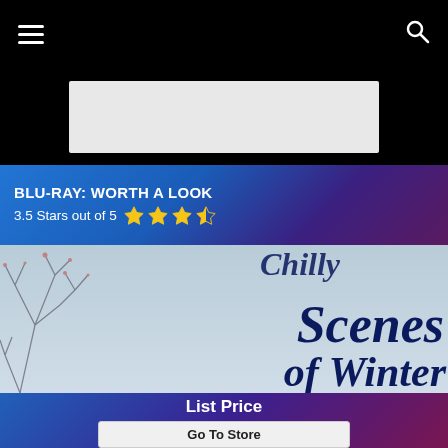☰  🔍
[Figure (other): Grey rectangular banner/advertisement placeholder on black background]
BLU-RAY: WORTH A LOOK
3.5 Stars out of 5 ★★★½
[Figure (photo): Blu-ray movie cover for 'Chilly Scenes of Winter' showing winter tree branches on snowy background with large dark blue italic serif title text reading 'Scenes of Winter']
List Price
Go To Store